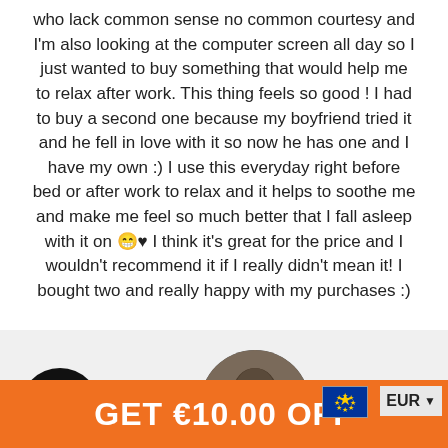who lack common sense no common courtesy and I'm also looking at the computer screen all day so I just wanted to buy something that would help me to relax after work. This thing feels so good! I had to buy a second one because my boyfriend tried it and he fell in love with it so now he has one and I have my own :) I use this everyday right before bed or after work to relax and it helps to soothe me and make me feel so much better that I fall asleep with it on 😁♥ I think it's great for the price and I wouldn't recommend it if I really didn't mean it! I bought two and really happy with my purchases :)
[Figure (photo): Chat icon (black circle with white circle inside) and profile photo (person's head cropped in circle)]
GET €10.00 OFF
[Figure (illustration): EU flag icon]
EUR ▼